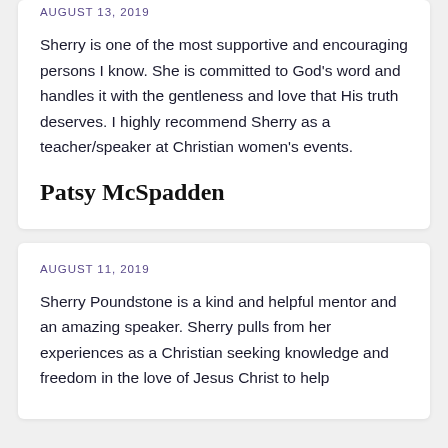AUGUST 13, 2019
Sherry is one of the most supportive and encouraging persons I know. She is committed to God's word and handles it with the gentleness and love that His truth deserves. I highly recommend Sherry as a teacher/speaker at Christian women's events.
Patsy McSpadden
AUGUST 11, 2019
Sherry Poundstone is a kind and helpful mentor and an amazing speaker. Sherry pulls from her experiences as a Christian seeking knowledge and freedom in the love of Jesus Christ to help